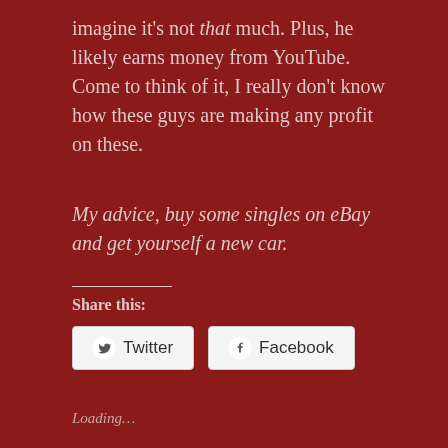imagine it's not that much. Plus, he likely earns money from YouTube. Come to think of it, I really don't know how these guys are making any profit on these.
My advice, buy some singles on eBay and get yourself a new car.
Share this:
[Figure (screenshot): Twitter and Facebook share buttons on dark red background]
Loading...
Related
[Figure (photo): Two related article thumbnail images side by side]